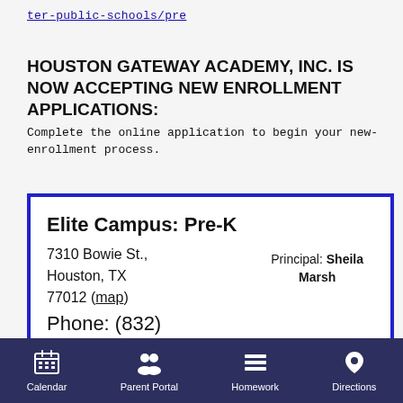ter-public-schools/pre
HOUSTON GATEWAY ACADEMY, INC. IS NOW ACCEPTING NEW ENROLLMENT APPLICATIONS:
Complete the online application to begin your new-enrollment process.
Elite Campus: Pre-K
7310 Bowie St., Houston, TX 77012 (map)
Phone: (832)
Principal: Sheila Marsh
Calendar  Parent Portal  Homework  Directions